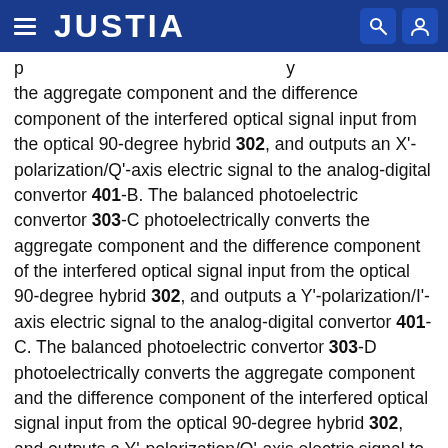JUSTIA
the aggregate component and the difference component of the interfered optical signal input from the optical 90-degree hybrid 302, and outputs an X'-polarization/Q'-axis electric signal to the analog-digital convertor 401-B. The balanced photoelectric convertor 303-C photoelectrically converts the aggregate component and the difference component of the interfered optical signal input from the optical 90-degree hybrid 302, and outputs a Y'-polarization/I'-axis electric signal to the analog-digital convertor 401-C. The balanced photoelectric convertor 303-D photoelectrically converts the aggregate component and the difference component of the interfered optical signal input from the optical 90-degree hybrid 302, and outputs a Y'-polarization/Q'-axis electric signal to the analog-digital convertor 401-D. The balanced photoelectric convertor 303-A, 303-B, 303-C, and 303-D